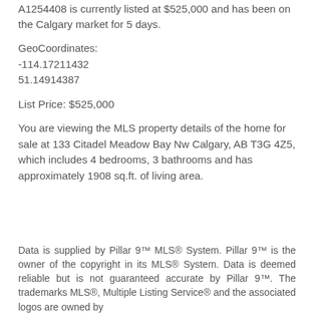A1254408 is currently listed at $525,000 and has been on the Calgary market for 5 days.
GeoCoordinates:
-114.17211432
51.14914387
List Price: $525,000
You are viewing the MLS property details of the home for sale at 133 Citadel Meadow Bay Nw Calgary, AB T3G 4Z5, which includes 4 bedrooms, 3 bathrooms and has approximately 1908 sq.ft. of living area.
Data is supplied by Pillar 9™ MLS® System. Pillar 9™ is the owner of the copyright in its MLS® System. Data is deemed reliable but is not guaranteed accurate by Pillar 9™. The trademarks MLS®, Multiple Listing Service® and the associated logos are owned by